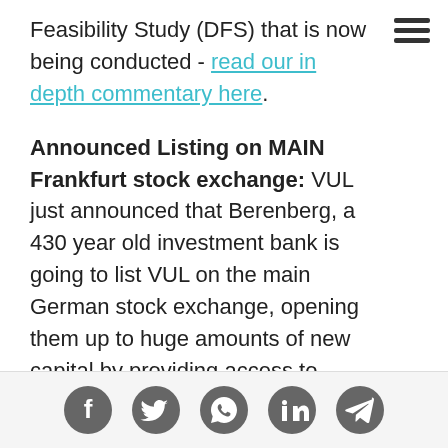Feasibility Study (DFS) that is now being conducted - read our in depth commentary here.
Announced Listing on MAIN Frankfurt stock exchange: VUL just announced that Berenberg, a 430 year old investment bank is going to list VUL on the main German stock exchange, opening them up to huge amounts of new capital by providing access to German and European institutional investors. VUL's recently appointed chief communications office in Germany will get the world out to investors - read our in depth commentary here
[Figure (other): Social media share icons: Facebook, Twitter, WhatsApp, LinkedIn, Telegram]